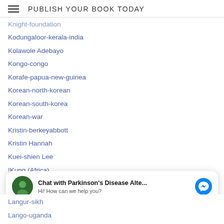PUBLISH YOUR BOOK TODAY
Knight-foundation
Kodungaloor-kerala-india
Kolawole Adebayo
Kongo-congo
Korafe-papua-new-guinea
Korean-north-korean
Korean-south-korea
Korean-war
Kristin-berkeyabbott
Kristin Hannah
Kuei-shien Lee
!Kung (Africa)
Kurdish (Turkey)
Kylana
Chat with Parkinson's Disease Alte... | Hi! How can we help you?
Langur-sikh
Lango-uganda